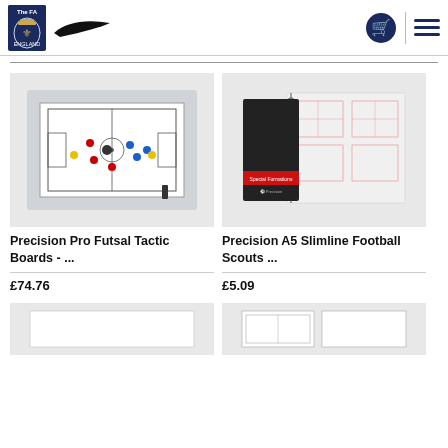[Figure (logo): The FA badge logo (three lions crest) and Nike swoosh logo in header]
[Figure (screenshot): E-commerce product listing page showing football coaching equipment]
Precision Pro Futsal Tactic Boards - ...
£74.76
Precision A5 Slimline Football Scouts ...
£5.09